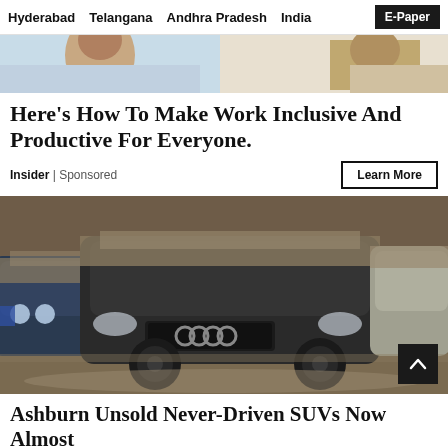Hyderabad   Telangana   Andhra Pradesh   India   E-Paper
[Figure (photo): Top portion of an advertisement showing a person, cropped at the top of the page]
Here’s How To Make Work Inclusive And Productive For Everyone.
Insider | Sponsored
[Figure (photo): Multiple dust-covered SUVs parked in a storage facility, including a prominent black Audi Q7 in the foreground]
Ashburn Unsold Never-Driven SUVs Now Almost